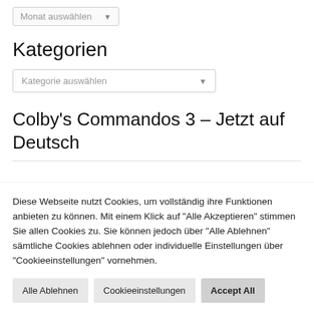[Figure (screenshot): Dropdown widget labeled 'Monat auswählen' with chevron arrow]
Kategorien
[Figure (screenshot): Dropdown widget labeled 'Kategorie auswählen' with chevron arrow]
Colby's Commandos 3 – Jetzt auf Deutsch
Diese Webseite nutzt Cookies, um vollständig ihre Funktionen anbieten zu können. Mit einem Klick auf "Alle Akzeptieren" stimmen Sie allen Cookies zu. Sie können jedoch über "Alle Ablehnen" sämtliche Cookies ablehnen oder individuelle Einstellungen über "Cookieeinstellungen" vornehmen.
Alle Ablehnen | Cookieeinstellungen | Accept All